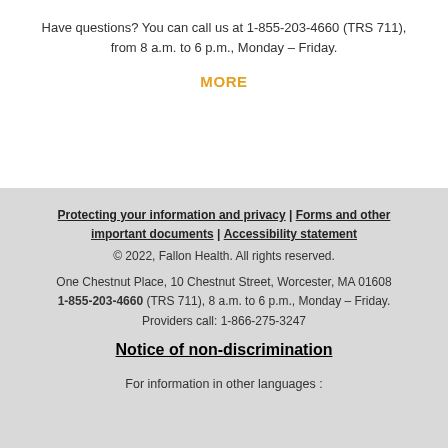Have questions? You can call us at 1-855-203-4660 (TRS 711), from 8 a.m. to 6 p.m., Monday – Friday.
MORE
Protecting your information and privacy | Forms and other important documents | Accessibility statement
© 2022, Fallon Health. All rights reserved.
One Chestnut Place, 10 Chestnut Street, Worcester, MA 01608
1-855-203-4660 (TRS 711), 8 a.m. to 6 p.m., Monday – Friday.
Providers call: 1-866-275-3247
Notice of non-discrimination
For information in other languages :